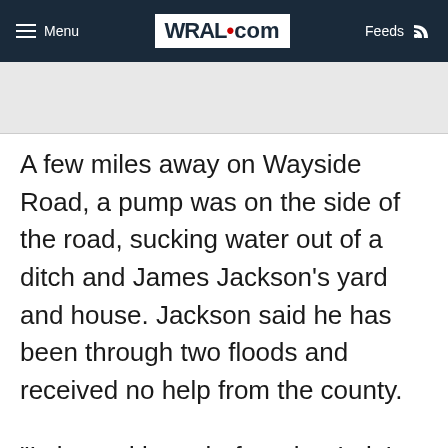Menu  WRAL.com  Feeds
A few miles away on Wayside Road, a pump was on the side of the road, sucking water out of a ditch and James Jackson’s yard and house. Jackson said he has been through two floods and received no help from the county.
“I cleaned it out before, but I ain’t starting over no more,” Jackson said. “I’m tired of fighting.”